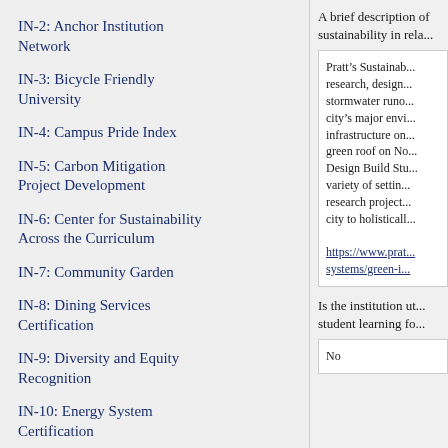IN-2: Anchor Institution Network
IN-3: Bicycle Friendly University
IN-4: Campus Pride Index
IN-5: Carbon Mitigation Project Development
IN-6: Center for Sustainability Across the Curriculum
IN-7: Community Garden
IN-8: Dining Services Certification
IN-9: Diversity and Equity Recognition
IN-10: Energy System Certification
IN-11: External Reporting Assurance
A brief description of sustainability in rela...
Pratt’s Sustainab... research, design... stormwater runo... city’s major envi... infrastructure on... green roof on No... Design Build Stu... variety of settin... research project... city to holistically...
https://www.prat... systems/green-i...
Is the institution ut... student learning fo...
No